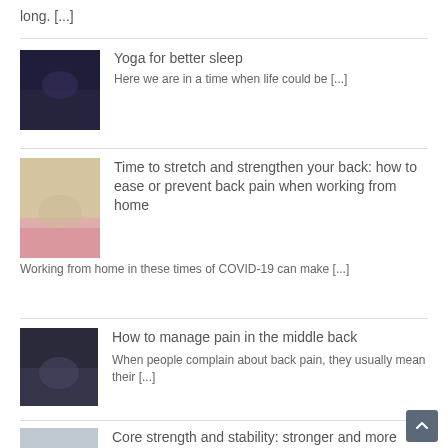long. [...]
Yoga for better sleep — Here we are in a time when life could be [...]
Time to stretch and strengthen your back: how to ease or prevent back pain when working from home — Working from home in these times of COVID-19 can make [...]
How to manage pain in the middle back — When people complain about back pain, they usually mean their [...]
Core strength and stability: stronger and more relaxed in 2020